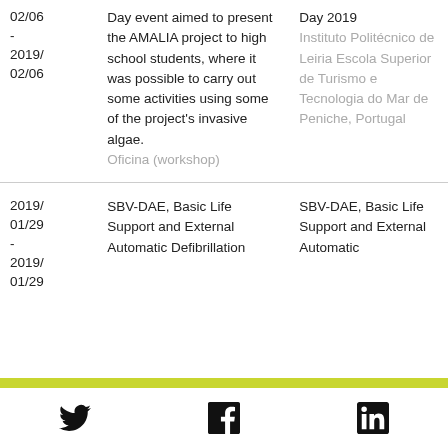| Date | Description | Location |
| --- | --- | --- |
| 02/06 - 2019/ 02/06 | Day event aimed to present the AMALIA project to high school students, where it was possible to carry out some activities using some of the project's invasive algae. Oficina (workshop) | Day 2019 Instituto Politécnico de Leiria Escola Superior de Turismo e Tecnologia do Mar de Peniche, Portugal |
| 2019/ 01/29 - 2019/ 01/29 | SBV-DAE, Basic Life Support and External Automatic Defibrillation | SBV-DAE, Basic Life Support and External Automatic |
Social media icons: Twitter, Facebook, LinkedIn